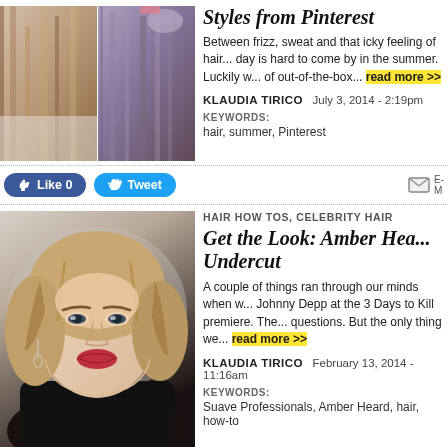[Figure (photo): Two hair photos side by side showing summer hairstyles]
Styles from Pinterest
Between frizz, sweat and that icky feeling of hair... day is hard to come by in the summer. Luckily w... of out-of-the-box... read more >>
KLAUDIA TIRICO   July 3, 2014 - 2:19pm
KEYWORDS:
hair, summer, Pinterest
[Figure (screenshot): Facebook Like button (0 likes) and Twitter Tweet button]
[Figure (photo): Portrait photo of Amber Heard with blonde hair and red lips]
HAIR HOW TOS, CELEBRITY HAIR
Get the Look: Amber Hea... Undercut
A couple of things ran through our minds when w... Johnny Depp at the 3 Days to Kill premiere. The... questions. But the only thing we... read more >>
KLAUDIA TIRICO   February 13, 2014 - 11:16am
KEYWORDS:
Suave Professionals, Amber Heard, hair, how-to